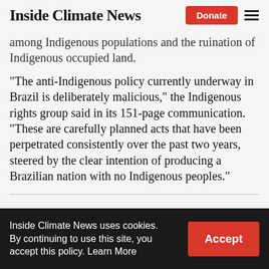Inside Climate News
among Indigenous populations and the ruination of Indigenous occupied land.
“The anti-Indigenous policy currently underway in Brazil is deliberately malicious,” the Indigenous rights group said in its 151-page communication. “These are carefully planned acts that have been perpetrated consistently over the past two years, steered by the clear intention of producing a Brazilian nation with no Indigenous peoples.”
Inside Climate News uses cookies. By continuing to use this site, you accept this policy. Learn More